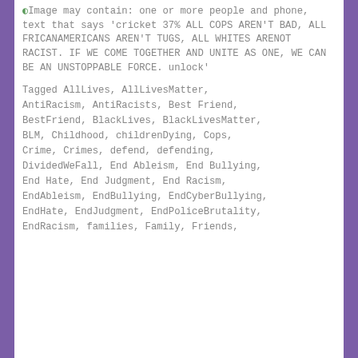Image may contain: one or more people and phone, text that says 'cricket 37% ALL COPS AREN'T BAD, ALL FRICANAMERICANS AREN'T TUGS, ALL WHITES ARENOT RACIST. IF WE COME TOGETHER AND UNITE AS ONE, WE CAN BE AN UNSTOPPABLE FORCE. unlock'
Tagged AllLives, AllLivesMatter, AntiRacism, AntiRacists, Best Friend, BestFriend, BlackLives, BlackLivesMatter, BLM, Childhood, childrenDying, Cops, Crime, Crimes, defend, defending, DividedWeFall, End Ableism, End Bullying, End Hate, End Judgment, End Racism, EndAbleism, EndBullying, EndCyberBullying, EndHate, EndJudgment, EndPoliceBrutality, EndRacism, families, Family, Friends,